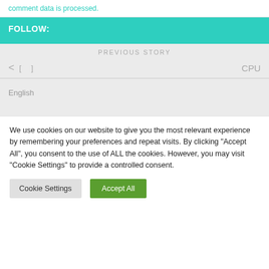comment data is processed.
FOLLOW:
PREVIOUS STORY
< [ ]  CPU
English
We use cookies on our website to give you the most relevant experience by remembering your preferences and repeat visits. By clicking "Accept All", you consent to the use of ALL the cookies. However, you may visit "Cookie Settings" to provide a controlled consent.
Cookie Settings  Accept All